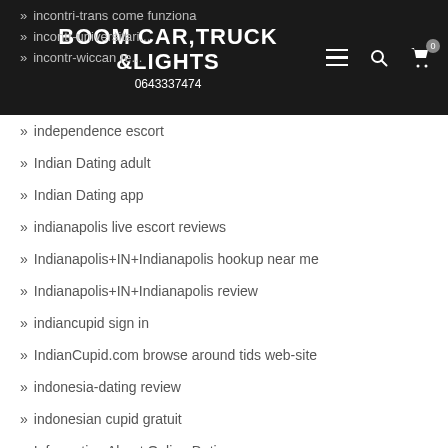BOOM CAR, TRUCK & LIGHTS | 0643337474
incontri-trans come funziona
incontr-universitari...
incontr-wiccan re...
independence escort
Indian Dating adult
Indian Dating app
indianapolis live escort reviews
Indianapolis+IN+Indianapolis hookup near me
Indianapolis+IN+Indianapolis review
indiancupid sign in
IndianCupid.com browse around tids web-site
indonesia-dating review
indonesian cupid gratuit
Information About Online Dating
inglewood escort index